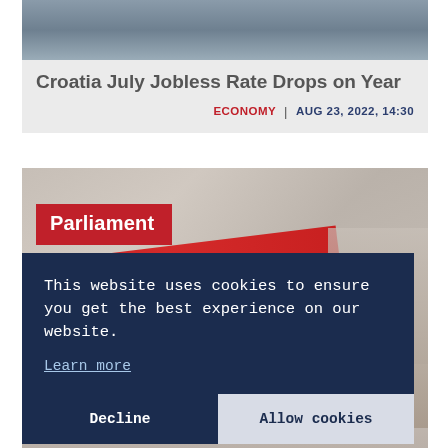[Figure (photo): Top portion of a news article photo, partially visible at top of page]
Croatia July Jobless Rate Drops on Year
ECONOMY  |  AUG 23, 2022, 14:30
[Figure (photo): Photo of a parliament building with a red, white, and green flag (Hungarian flag) draped over it, with a red 'Parliament' label overlay]
This website uses cookies to ensure you get the best experience on our website.
Learn more
Decline
Allow cookies